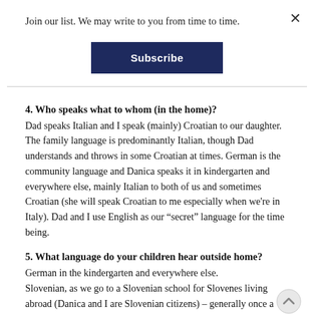Join our list. We may write to you from time to time.
[Figure (other): Subscribe button with dark navy blue background and white bold text reading 'Subscribe']
4. Who speaks what to whom (in the home)?
Dad speaks Italian and I speak (mainly) Croatian to our daughter. The family language is predominantly Italian, though Dad understands and throws in some Croatian at times. German is the community language and Danica speaks it in kindergarten and everywhere else, mainly Italian to both of us and sometimes Croatian (she will speak Croatian to me especially when we're in Italy). Dad and I use English as our “secret” language for the time being.
5. What language do your children hear outside home?
German in the kindergarten and everywhere else.
Slovenian, as we go to a Slovenian school for Slovenes living abroad (Danica and I are Slovenian citizens) – generally once a